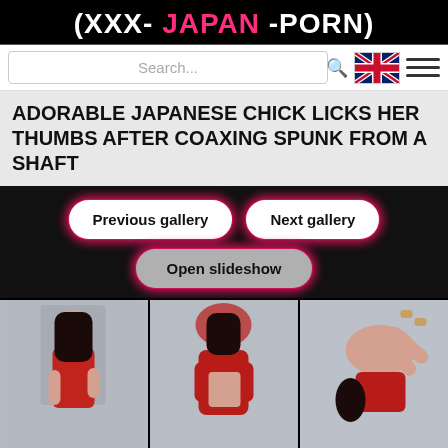(XXX- JAPAN -PORN)
Search...
ADORABLE JAPANESE CHICK LICKS HER THUMBS AFTER COAXING SPUNK FROM A SHAFT
Previous gallery | Next gallery | Open slideshow
[Figure (photo): Three thumbnail photos of a Japanese woman in a red outfit in various poses against a light grey background.]